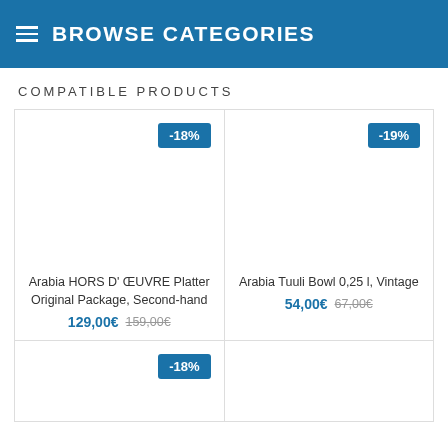BROWSE CATEGORIES
COMPATIBLE PRODUCTS
[Figure (other): Product card: Arabia HORS D' OEUVRE Platter Original Package, Second-hand with -18% discount badge. Price: 129,00€ (was 159,00€)]
[Figure (other): Product card: Arabia Tuuli Bowl 0,25 l, Vintage with -19% discount badge. Price: 54,00€ (was 67,00€)]
[Figure (other): Product card (partial, bottom row): showing -18% discount badge, product image area cut off]